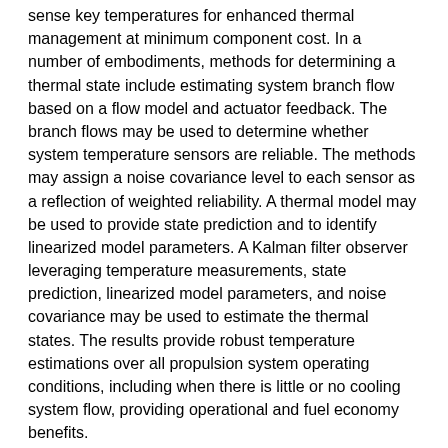sense key temperatures for enhanced thermal management at minimum component cost. In a number of embodiments, methods for determining a thermal state include estimating system branch flow based on a flow model and actuator feedback. The branch flows may be used to determine whether system temperature sensors are reliable. The methods may assign a noise covariance level to each sensor as a reflection of weighted reliability. A thermal model may be used to provide state prediction and to identify linearized model parameters. A Kalman filter observer leveraging temperature measurements, state prediction, linearized model parameters, and noise covariance may be used to estimate the thermal states. The results provide robust temperature estimations over all propulsion system operating conditions, including when there is little or no cooling system flow, providing operational and fuel economy benefits.
With reference to FIG. 1, illustrated is one example of a thermal system 100 for heat management of a propulsion system 102. As will be discussed further herein, the propulsion system is controlled with improved performance and efficiency. The thermal system 100 is but